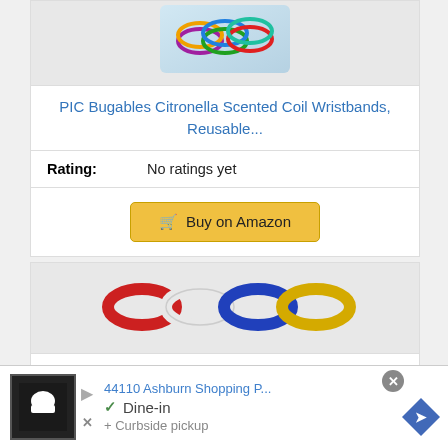[Figure (photo): Colorful coil wristbands in a clear bag, partially visible at top]
PIC Bugables Citronella Scented Coil Wristbands, Reusable...
| Rating: | No ratings yet |
| --- | --- |
[Figure (other): Buy on Amazon button with shopping cart icon]
[Figure (photo): Four wristbands in red, white, blue, and yellow/gold colors]
BugBand Insect Repllent Bands, 4-Count Family Pack...
[Figure (screenshot): Advertisement overlay showing location address 44110 Ashburn Shopping P..., Dine-in checkmark, chef logo, navigation arrow button, and close button]